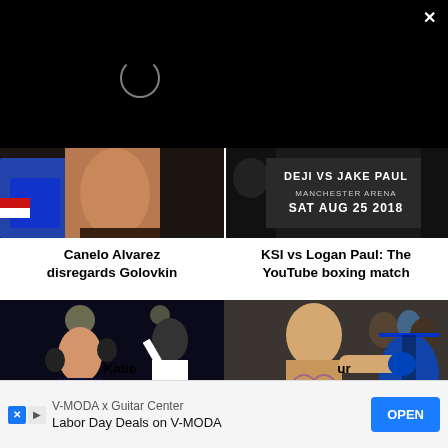[Figure (screenshot): Black video player area with loading spinner and X close button]
[Figure (photo): Canelo Alvarez boxing thumbnail showing fighters mid-match]
[Figure (photo): KSI vs Jake Paul Manchester Arena SAT AUG 25 2018 promotional image]
Canelo Alvarez disregards Golovkin
KSI vs Logan Paul: The YouTube boxing match
[Figure (photo): Katie Taylor boxing match photo with KATIE on shorts]
[Figure (photo): Conor McGregor punching bag training photo]
Katie
& WE
ur
boxing
[Figure (infographic): V-MODA x Guitar Center Labor Day Deals on V-MODA advertisement banner with OPEN button]